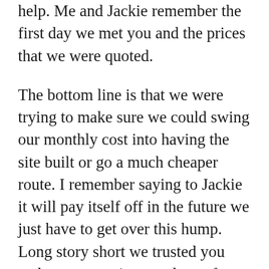help. Me and Jackie remember the first day we met you and the prices that we were quoted.
The bottom line is that we were trying to make sure we could swing our monthly cost into having the site built or go a much cheaper route. I remember saying to Jackie it will pay itself off in the future we just have to get over this hump. Long story short we trusted you and your team, it was a leap of faith!
Since then our website has put me in a total different category when it comes to local personal trainers. We are constantly getting complements on how professional it is designed.
Needless to say the countless leads I have been